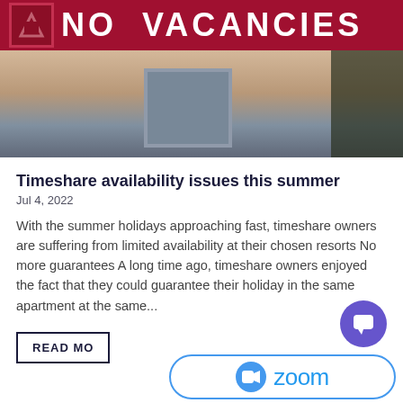[Figure (photo): A red 'NO VACANCIES' sign mounted outside a building. The sign has a dark red background with white bold text. Behind it is a blurred building facade with a window visible.]
Timeshare availability issues this summer
Jul 4, 2022
With the summer holidays approaching fast, timeshare owners are suffering from limited availability at their chosen resorts No more guarantees A long time ago, timeshare owners enjoyed the fact that they could guarantee their holiday in the same apartment at the same...
READ MORE
[Figure (logo): Zoom logo: a blue circular icon with a video camera symbol on the left, and the word 'zoom' in blue text on the right, inside a pill-shaped white button with blue border.]